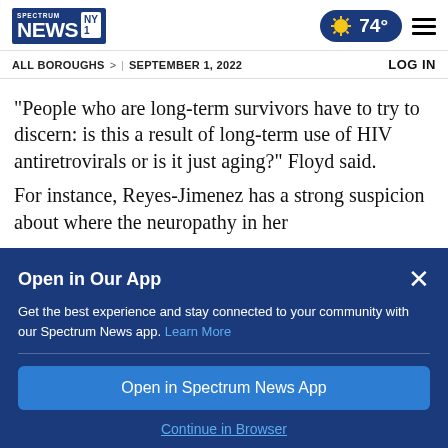SPECTRUM NEWS NY1 | 74° | Menu
ALL BOROUGHS > | SEPTEMBER 1, 2022    LOG IN
"People who are long-term survivors have to try to discern: is this a result of long-term use of HIV antiretrovirals or is it just aging?" Floyd said.
For instance, Reyes-Jimenez has a strong suspicion about where the neuropathy in her
Open in Our App
Get the best experience and stay connected to your community with our Spectrum News app. Learn More
Open in Spectrum News App
Continue in Browser